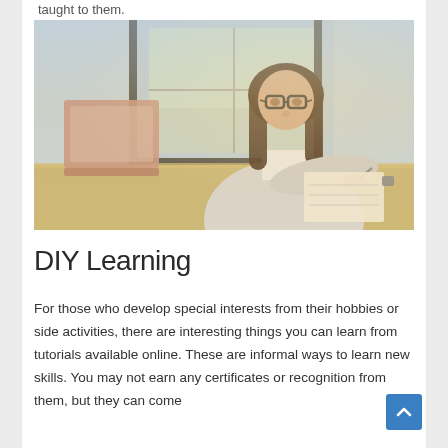taught to them.
[Figure (photo): Woman with glasses and long dark hair writing in a notebook at a desk, with a laptop open to her left and a large window in the background.]
DIY Learning
For those who develop special interests from their hobbies or side activities, there are interesting things you can learn from tutorials available online. These are informal ways to learn new skills. You may not earn any certificates or recognition from them, but they can come